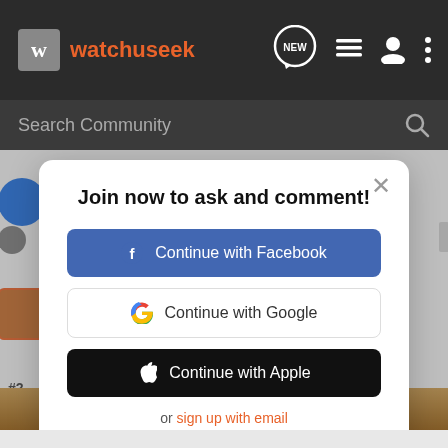watchuseek
Search Community
Join now to ask and comment!
Continue with Facebook
Continue with Google
Continue with Apple
or sign up with email
Air, land, sea, and space.